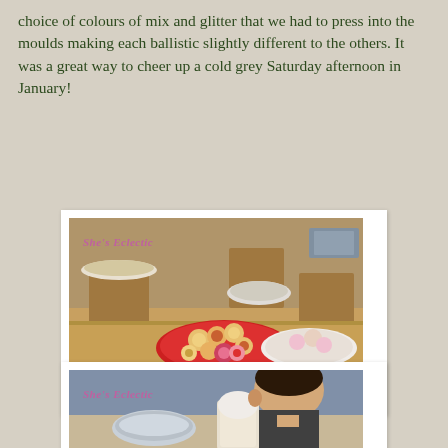choice of colours of mix and glitter that we had to press into the moulds making each ballistic slightly different to the others. It was a great way to cheer up a cold grey Saturday afternoon in January!
[Figure (photo): A table covered with plates of biscuits, ring-shaped sweets, and candy. A blue packet of chocolate digestives is visible in the foreground. The photo has a watermark reading 'She's Eclectic'.]
[Figure (photo): A child leaning over a table working with a metal bowl and a plastic cup, appears to be doing a craft activity. The photo has a watermark reading 'She's Eclectic'.]